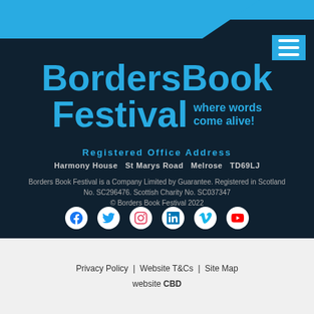[Figure (logo): Borders Book Festival logo with tagline 'where words come alive!' in blue on dark background]
Registered Office Address
Harmony House  St Marys Road  Melrose  TD69LJ
Borders Book Festival is a Company Limited by Guarantee. Registered in Scotland No. SC296476. Scottish Charity No. SC037347
© Borders Book Festival 2022
[Figure (infographic): Social media icons: Facebook, Twitter, Instagram, LinkedIn, Vimeo, YouTube]
Privacy Policy  |  Website T&Cs  |  Site Map
website CBD